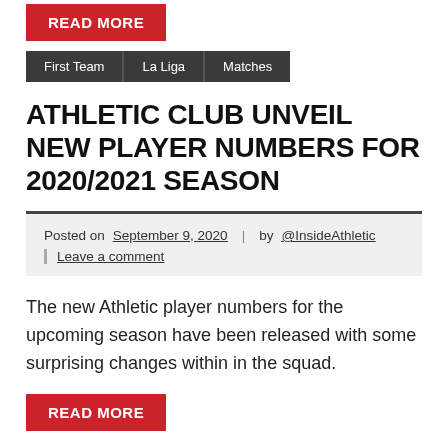READ MORE
First Team
La Liga
Matches
ATHLETIC CLUB UNVEIL NEW PLAYER NUMBERS FOR 2020/2021 SEASON
Posted on September 9, 2020 | by @InsideAthletic | Leave a comment
The new Athletic player numbers for the upcoming season have been released with some surprising changes within in the squad.
READ MORE